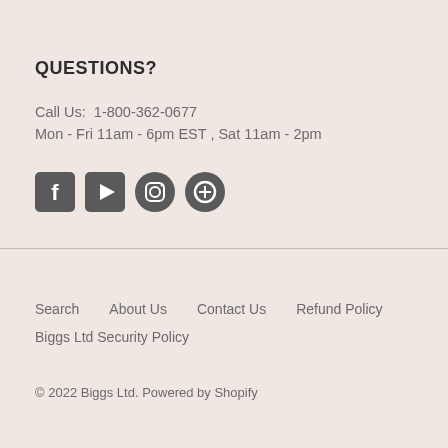QUESTIONS?
Call Us:  1-800-362-0677
Mon - Fri 11am - 6pm EST , Sat 11am - 2pm
[Figure (illustration): Four social media icons: Facebook, YouTube, Instagram, Pinterest]
Search    About Us    Contact Us    Refund Policy
Biggs Ltd Security Policy
© 2022 Biggs Ltd. Powered by Shopify